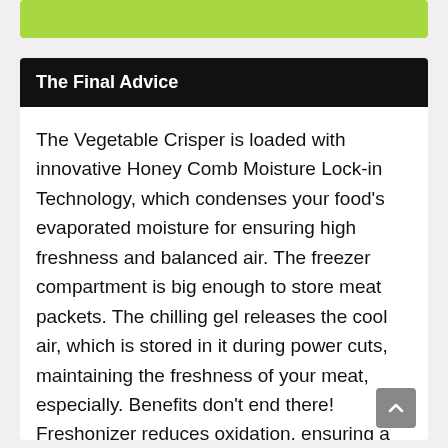The Final Advice
The Vegetable Crisper is loaded with innovative Honey Comb Moisture Lock-in Technology, which condenses your food’s evaporated moisture for ensuring high freshness and balanced air. The freezer compartment is big enough to store meat packets. The chilling gel releases the cool air, which is stored in it during power cuts, maintaining the freshness of your meat, especially. Benefits don’t end there! Freshonizer reduces oxidation, ensuring a long life of fruits and veggies. The active deo